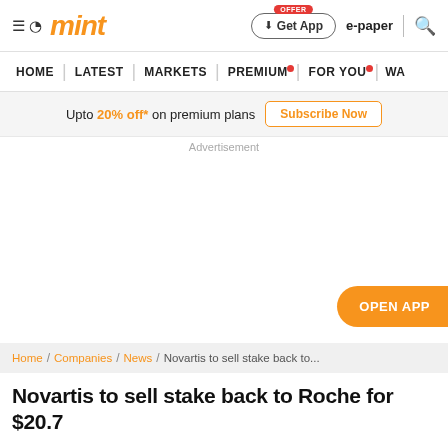mint
HOME | LATEST | MARKETS | PREMIUM | FOR YOU | WA
Upto 20% off* on premium plans Subscribe Now
Advertisement
OPEN APP
Home / Companies / News / Novartis to sell stake back to...
Novartis to sell stake back to Roche for $20.7